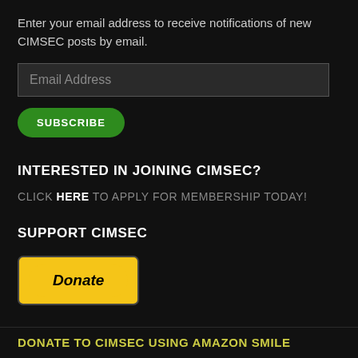Enter your email address to receive notifications of new CIMSEC posts by email.
[Figure (other): Email address input field with placeholder text 'Email Address']
[Figure (other): Green SUBSCRIBE button with rounded pill shape]
INTERESTED IN JOINING CIMSEC?
CLICK HERE TO APPLY FOR MEMBERSHIP TODAY!
SUPPORT CIMSEC
[Figure (other): PayPal Donate button — yellow rounded rectangle with italic 'Donate' text in black]
DONATE TO CIMSEC USING AMAZON SMILE